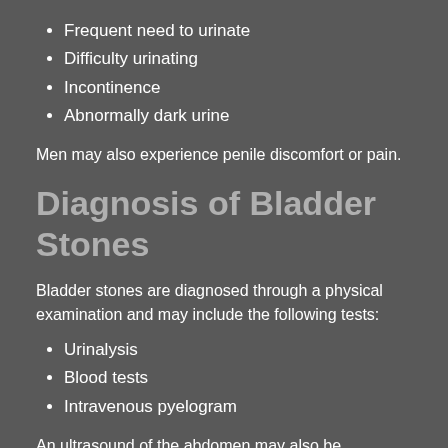Frequent need to urinate
Difficulty urinating
Incontinence
Abnormally dark urine
Men may also experience penile discomfort or pain.
Diagnosis of Bladder Stones
Bladder stones are diagnosed through a physical examination and may include the following tests:
Urinalysis
Blood tests
Intravenous pyelogram
An ultrasound of the abdomen may also be performed.